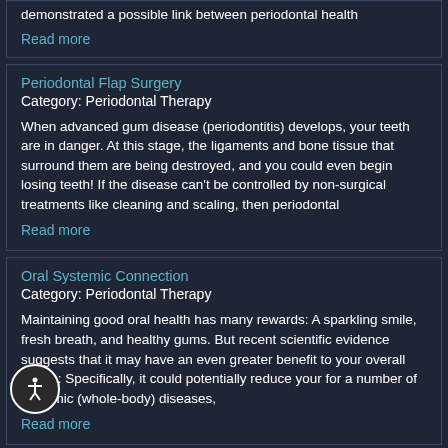demonstrated a possible link between periodontal health
Read more
Periodontal Flap Surgery
Category: Periodontal Therapy
When advanced gum disease (periodontitis) develops, your teeth are in danger. At this stage, the ligaments and bone tissue that surround them are being destroyed, and you could even begin losing teeth! If the disease can't be controlled by non-surgical treatments like cleaning and scaling, then periodontal
Read more
Oral Systemic Connection
Category: Periodontal Therapy
Maintaining good oral health has many rewards: A sparkling smile, fresh breath, and healthy gums. But recent scientific evidence suggests that it may have an even greater benefit to your overall health: Specifically, it could potentially reduce your for a number of systemic (whole-body) diseases,
Read more